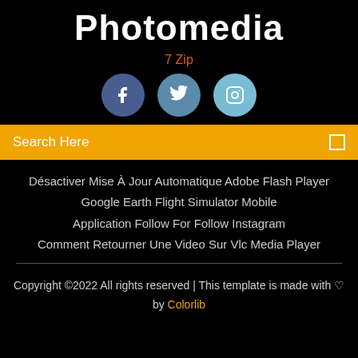Photomedia
7 Zip
[Figure (other): Three social media circular icon buttons: Facebook (dark blue), Twitter (medium blue), Instagram (light blue)]
Search Here
Désactiver Mise À Jour Automatique Adobe Flash Player
Google Earth Flight Simulator Mobile
Application Follow For Follow Instagram
Comment Retourner Une Video Sur Vlc Media Player
Copyright ©2022 All rights reserved | This template is made with ♡ by Colorlib